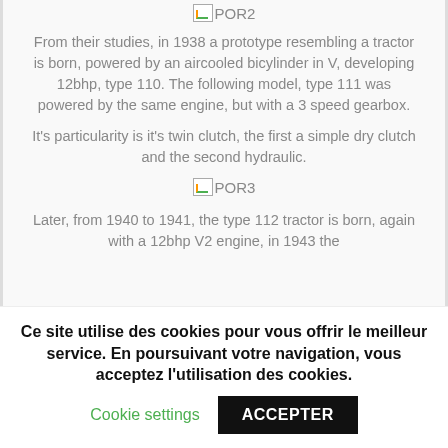[Figure (other): Broken image placeholder labeled POR2]
From their studies, in 1938 a prototype resembling a tractor is born, powered by an aircooled bicylinder in V, developing 12bhp, type 110. The following model, type 111 was powered by the same engine, but with a 3 speed gearbox.
It's particularity is it's twin clutch, the first a simple dry clutch and the second hydraulic.
[Figure (other): Broken image placeholder labeled POR3]
Later, from 1940 to 1941, the type 112 tractor is born, again with a 12bhp V2 engine, in 1943 the
Ce site utilise des cookies pour vous offrir le meilleur service. En poursuivant votre navigation, vous acceptez l'utilisation des cookies.